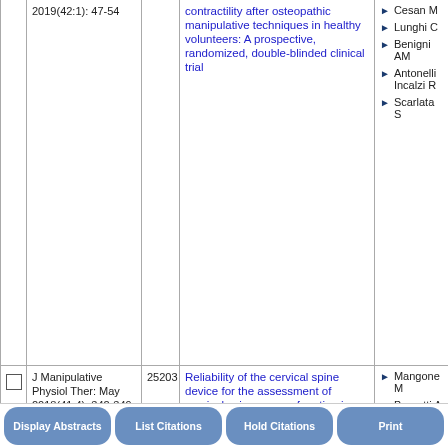|  | Journal | ID | Title | Authors |
| --- | --- | --- | --- | --- |
|  | 2019(42:1): 47-54 | 25203 | Reliability of the cervical spine device for the assessment of cervical spine range of motion in asymptomatic participants | Mangone M, Bernetti A, Germanotta M, Di Sipio E, Razzano C, Ioppolo F, Santilli V |